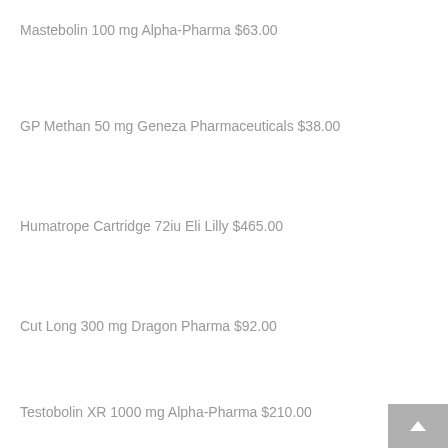Mastebolin 100 mg Alpha-Pharma $63.00
GP Methan 50 mg Geneza Pharmaceuticals $38.00
Humatrope Cartridge 72iu Eli Lilly $465.00
Cut Long 300 mg Dragon Pharma $92.00
Testobolin XR 1000 mg Alpha-Pharma $210.00